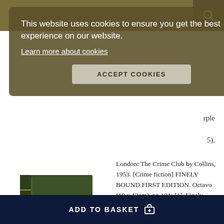Website header with search icon
This website uses cookies to ensure you get the best experience on our website.
Learn more about cookies
ACCEPT COOKIES
rple
5).
[Figure (photo): Green leather-bound book, finely bound with gilt spine decoration]
London: The Crime Club by Collins, 1953. [Crime fiction] FINELY BOUND FIRST EDITION. Octavo (19 x 13cm), pp.191; [1]. Finely bound by the Baker Bindery, Anniston, Alabama in green full morocco, with gilt titles and decoration to spine, green patterned paste-paper endpapers, generous turn-ins ruled in gilt, with gilt motifs..... More >
ADD TO BASKET